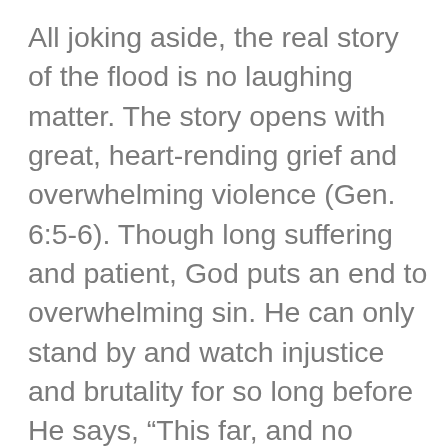All joking aside, the real story of the flood is no laughing matter. The story opens with great, heart-rending grief and overwhelming violence (Gen. 6:5-6). Though long suffering and patient, God puts an end to overwhelming sin. He can only stand by and watch injustice and brutality for so long before He says, “This far, and no further!” As C.S. Lewis reminded us, “Finality must come sometime, and it does not require a very robust faith